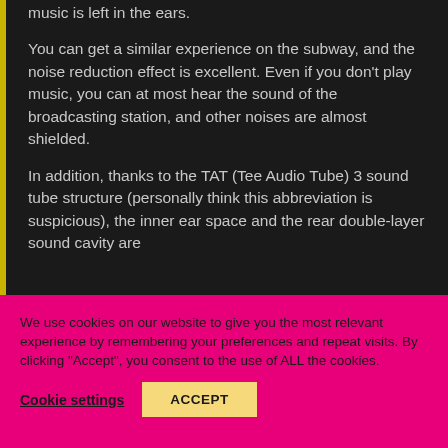music is left in the ears.
You can get a similar experience on the subway, and the noise reduction effect is excellent. Even if you don't play music, you can at most hear the sound of the broadcasting station, and other noises are almost shielded.
In addition, thanks to the TAT (Tee Audio Tube) 3 sound tube structure (personally think this abbreviation is suspicious), the inner ear space and the rear double-layer sound cavity are
We use cookies on our website to give you the most relevant experience by remembering your preferences and repeat visits. By clicking “Accept”, you consent to the use of ALL the cookies.
Cookie settings
ACCEPT